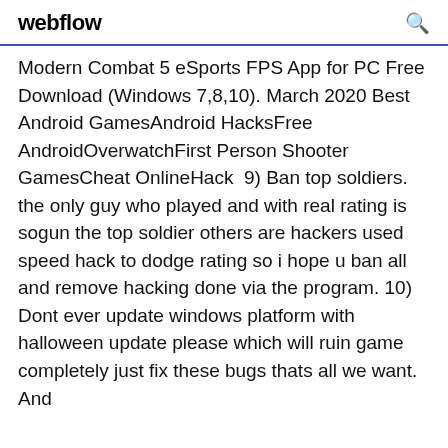webflow
Modern Combat 5 eSports FPS App for PC Free Download (Windows 7,8,10). March 2020 Best Android GamesAndroid HacksFree AndroidOverwatchFirst Person Shooter GamesCheat OnlineHack  9) Ban top soldiers. the only guy who played and with real rating is sogun the top soldier others are hackers used speed hack to dodge rating so i hope u ban all and remove hacking done via the program. 10) Dont ever update windows platform with halloween update please which will ruin game completely just fix these bugs thats all we want. And